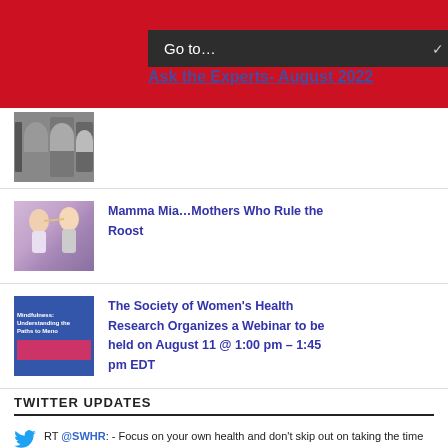Go to…
Ask the Experts- August 2022
Mamma Mia…Mothers Who Rule the Roost
The Society of Women's Health Research Organizes a Webinar to be held on August 11 @ 1:00 pm – 1:45 pm EDT
TWITTER UPDATES
RT @SWHR: - Focus on your own health and don't skip out on taking the time and effort to care for yourself, recommends Pamela, @thebalmingi… 2022/08/11
RT @SWHR: What tips do Karen and Pamela have for others going through #menopause? -